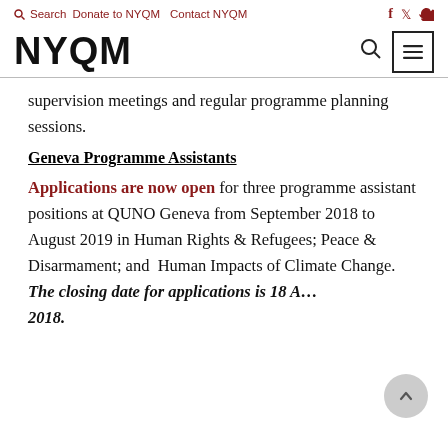🔍 Search  Donate to NYQM  Contact NYQM  f  🐦
NYQM
supervision meetings and regular programme planning sessions.
Geneva Programme Assistants
Applications are now open for three programme assistant positions at QUNO Geneva from September 2018 to August 2019 in Human Rights & Refugees; Peace & Disarmament; and Human Impacts of Climate Change. The closing date for applications is 18 A... 2018.